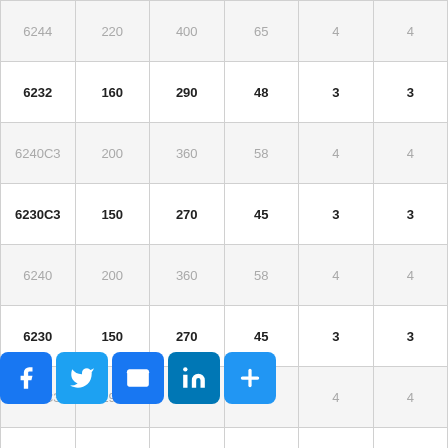| 6244 | 220 | 400 | 65 | 4 | 4 |
| 6232 | 160 | 290 | 48 | 3 | 3 |
| 6240C3 | 200 | 360 | 58 | 4 | 4 |
| 6230C3 | 150 | 270 | 45 | 3 | 3 |
| 6240 | 200 | 360 | 58 | 4 | 4 |
| 6230 | 150 | 270 | 45 | 3 | 3 |
| 6238C3 | 190 | 340 | 55 | 4 | 4 |
| 6238 | 190 | 340 | 55 | 4 | 4 |
| 6228 | 140 | 250 | 42 | 3 | 3 |
|  | 1 |  | 42 | 3 | 3 |